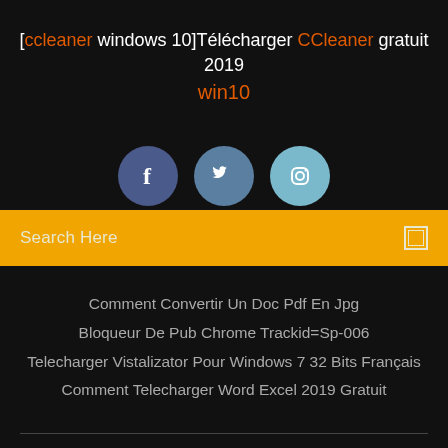[ccleaner windows 10]Télécharger CCleaner gratuit 2019 win10
[Figure (illustration): Three social media icon circles: Facebook (dark blue), Twitter (medium blue), Instagram (light blue)]
Search Here
Comment Convertir Un Doc Pdf En Jpg
Bloqueur De Pub Chrome Trackid=Sp-006
Telecharger Vistalizator Pour Windows 7 32 Bits Français
Comment Telecharger Word Excel 2019 Gratuit
Copyright ©2022 All rights reserved | This template is made with ♡ by Colorlib